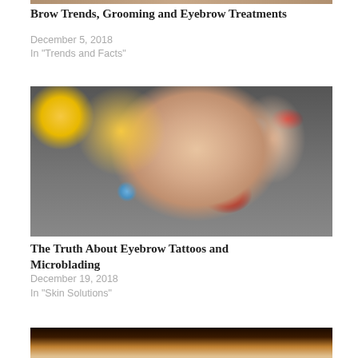[Figure (photo): Cropped top portion of an image, partially visible at top of page]
Brow Trends, Grooming and Eyebrow Treatments
December 5, 2018
In "Trends and Facts"
[Figure (photo): Pop-art style illustration of a blonde woman with blue eyes, red lips and red nails]
The Truth About Eyebrow Tattoos and Microblading
December 19, 2018
In "Skin Solutions"
[Figure (photo): Partial image at bottom, dark warm tones suggesting a person with warm lighting]